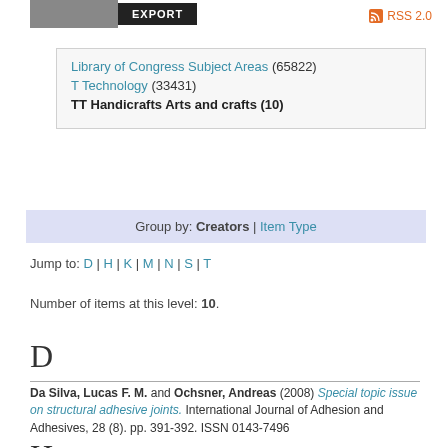EXPORT | RSS 2.0
Library of Congress Subject Areas (65822)
T Technology (33431)
TT Handicrafts Arts and crafts (10)
Group by: Creators | Item Type
Jump to: D | H | K | M | N | S | T
Number of items at this level: 10.
D
Da Silva, Lucas F. M. and Ochsner, Andreas (2008) Special topic issue on structural adhesive joints. International Journal of Adhesion and Adhesives, 28 (8). pp. 391-392. ISSN 0143-7496
H